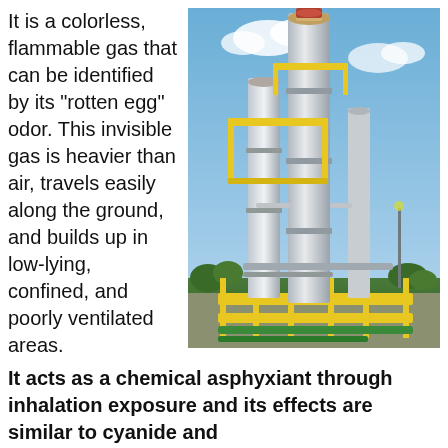It is a colorless, flammable gas that can be identified by its "rotten egg" odor. This invisible gas is heavier than air, travels easily along the ground, and builds up in low-lying, confined, and poorly ventilated areas.
[Figure (photo): Industrial refinery or chemical plant with tall silver cylindrical towers and yellow metal scaffolding/walkways against a blue sky with clouds.]
It acts as a chemical asphyxiant through inhalation exposure and its effects are similar to cyanide and